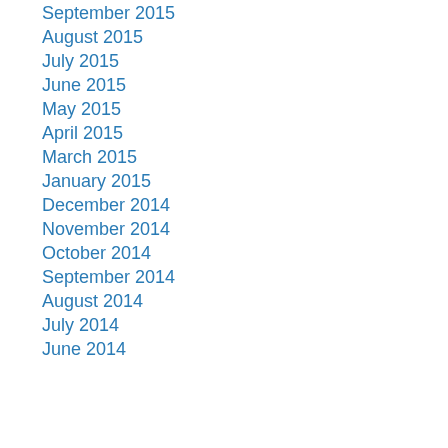September 2015
August 2015
July 2015
June 2015
May 2015
April 2015
March 2015
January 2015
December 2014
November 2014
October 2014
September 2014
August 2014
July 2014
June 2014